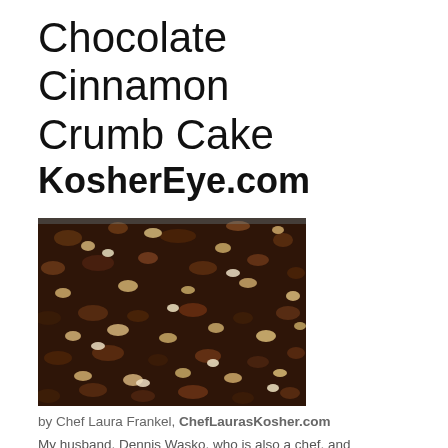Chocolate Cinnamon Crumb Cake
KosherEye.com
[Figure (photo): Close-up photo of chocolate cinnamon crumb cake topping showing dark crumble texture with lighter bits throughout]
by Chef Laura Frankel, ChefLaurasKosher.com
My husband, Dennis Wasko, who is also a chef, and